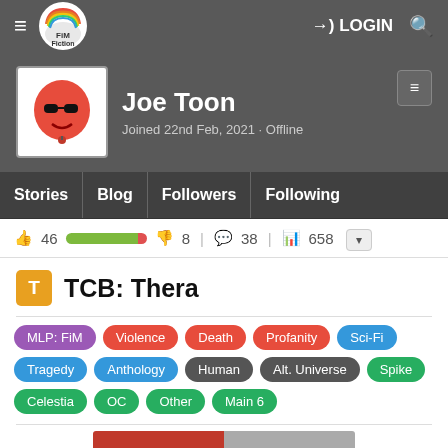≡  FIM Fiction  →) LOGIN  🔍
Joe Toon
Joined 22nd Feb, 2021 · Offline
Stories  |  Blog  |  Followers  |  Following
👍 46  [progress bar]  👎 8  |  💬 38  |  📊 658
TCB: Thera
MLP: FiM  Violence  Death  Profanity  Sci-Fi  Tragedy  Anthology  Human  Alt. Universe  Spike  Celestia  OC  Other  Main 6
[Figure (illustration): Partial story cover image showing a red left half and grey right half with illustrated characters]